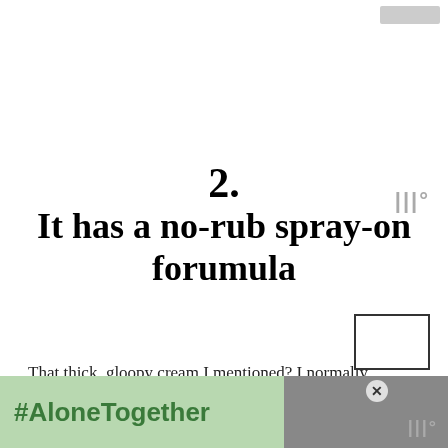2.
It has a no-rub spray-on forumula
That thick, gloopy cream I mentioned? I normally have to set aside a good 20 minutes just to apply it because the higher the SPF, the harder it tends to be to apply the stuff. With this you just